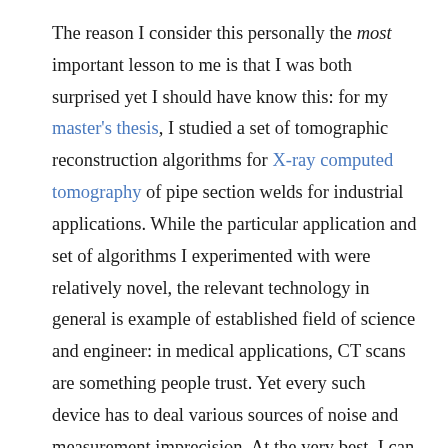The reason I consider this personally the most important lesson to me is that I was both surprised yet I should have know this: for my master's thesis, I studied a set of tomographic reconstruction algorithms for X-ray computed tomography of pipe section welds for industrial applications. While the particular application and set of algorithms I experimented with were relatively novel, the relevant technology in general is example of established field of science and engineer: in medical applications, CT scans are something people trust. Yet every such device has to deal various sources of noise and measurement imprecision. At the very best, I can quantify the amount of error in ones measurements in a way I can trust. This does not preclude improving the method so that the amount of